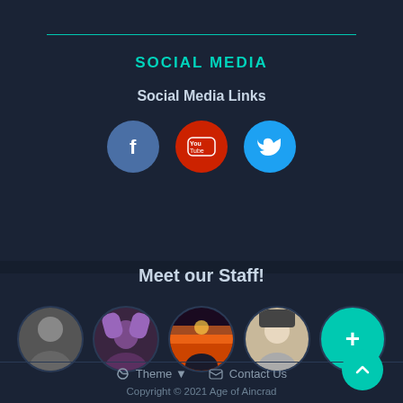SOCIAL MEDIA
Social Media Links
[Figure (illustration): Three social media icon circles: Facebook (blue), YouTube (red), Twitter (light blue)]
Meet our Staff!
[Figure (illustration): Five circular staff avatars: a grayscale photo of a person, a purple fantasy character, a sunset/dark anime scene, an anime character, and a teal plus button]
Theme ▼   Contact Us
Copyright © 2021 Age of Aincrad
Powered by Invision Community